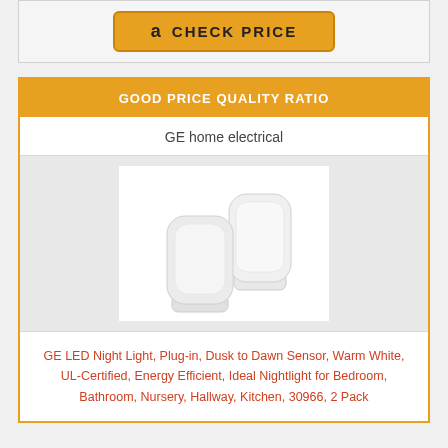[Figure (other): Amazon CHECK PRICE button with Amazon logo]
GOOD PRICE QUALITY RATIO
GE home electrical
[Figure (photo): Two white GE LED plug-in night lights on white background]
GE LED Night Light, Plug-in, Dusk to Dawn Sensor, Warm White, UL-Certified, Energy Efficient, Ideal Nightlight for Bedroom, Bathroom, Nursery, Hallway, Kitchen, 30966, 2 Pack